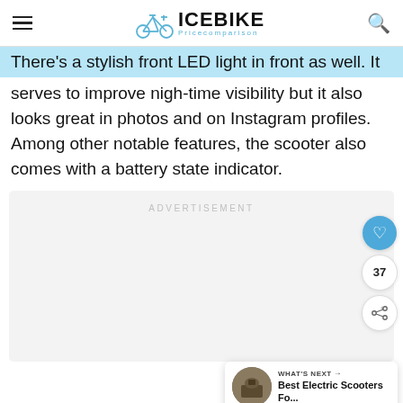ICEBIKE Pricecomparison
There's a stylish front LED light in front as well. It serves to improve nigh-time visibility but it also looks great in photos and on Instagram profiles. Among other notable features, the scooter also comes with a battery state indicator.
[Figure (other): Advertisement placeholder box with 'ADVERTISEMENT' text]
[Figure (infographic): Social sidebar with heart/like button, count 37, and share button]
[Figure (other): What's Next card showing 'Best Electric Scooters Fo...' with thumbnail image]